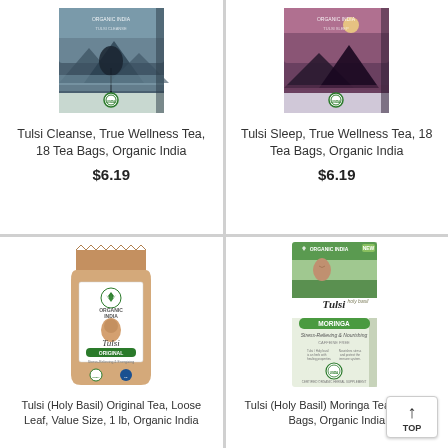[Figure (photo): Tulsi Cleanse tea box with mountain/tree background, organic certified]
Tulsi Cleanse, True Wellness Tea, 18 Tea Bags, Organic India
$6.19
[Figure (photo): Tulsi Sleep tea box with purple/sunset background, organic certified]
Tulsi Sleep, True Wellness Tea, 18 Tea Bags, Organic India
$6.19
[Figure (photo): Tulsi Original loose leaf tea in kraft paper bag, Organic India]
Tulsi (Holy Basil) Original Tea, Loose Leaf, Value Size, 1 lb, Organic India
[Figure (photo): Tulsi Moringa tea box with green label, woman smiling, Organic India, Stress-Relieving & Nourishing, Caffeine Free]
Tulsi (Holy Basil) Moringa Tea, 18 Tea Bags, Organic India